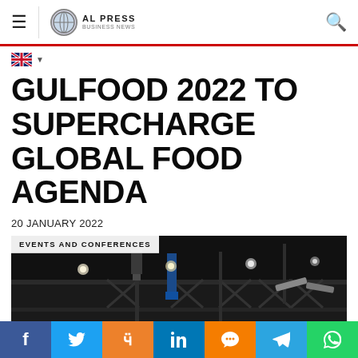AL PRESS | navigation bar with logo and search
English language selector
GULFOOD 2022 TO SUPERCHARGE GLOBAL FOOD AGENDA
20 JANUARY 2022
[Figure (photo): Dark exhibition hall interior with steel truss ceiling, stage lighting rigs, and a red 'First in Food Workshops' sign visible at the lower left. This is a Gulfood 2022 event venue.]
EVENTS AND CONFERENCES
Social share buttons: Facebook, Twitter, Odnoklassniki, LinkedIn, Blogger, Telegram, WhatsApp